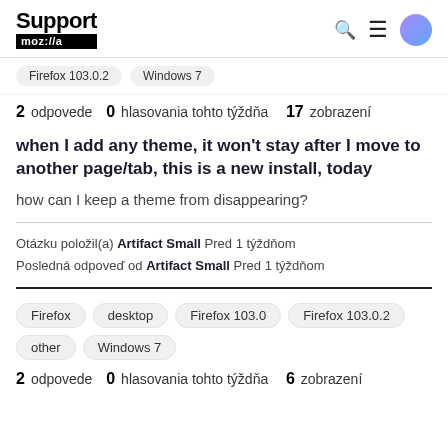Support mozilla // a
Firefox 103.0.2  Windows 7
2 odpovede  0  hlasovania tohto týždňa  17  zobrazení
when I add any theme, it won't stay after I move to another page/tab, this is a new install, today
how can I keep a theme from disappearing?
Otázku položil(a) Artifact Small Pred 1 týždňom
Posledná odpoveď od Artifact Small Pred 1 týždňom
Firefox  desktop  Firefox 103.0  Firefox 103.0.2  other  Windows 7
2 odpovede  0  hlasovania tohto týždňa  6  zobrazení